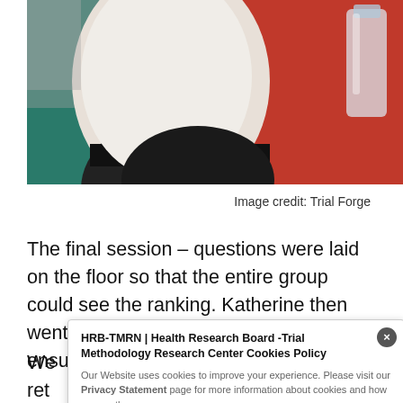[Figure (photo): Partial photo showing a person's torso (white shirt, black trousers/belt) seated on a teal chair beside a red tablecloth surface with a water bottle visible in the top right corner.]
Image credit: Trial Forge
The final session – questions were laid on the floor so that the entire group could see the ranking. Katherine then went through each question in turn to ensure that the group could rea...
We... ret... Ste...
HRB-TMRN | Health Research Board -Trial Methodology Research Center Cookies Policy

Our Website uses cookies to improve your experience. Please visit our Privacy Statement page for more information about cookies and how we use them.